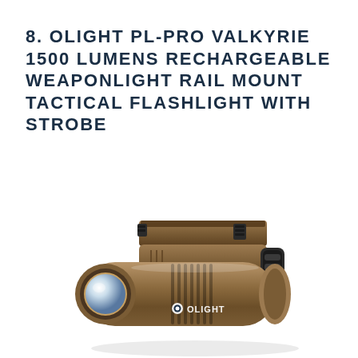8. OLIGHT PL-PRO VALKYRIE 1500 LUMENS RECHARGEABLE WEAPONLIGHT RAIL MOUNT TACTICAL FLASHLIGHT WITH STROBE
[Figure (photo): Photo of an Olight PL-Pro Valkyrie tactical flashlight in desert tan/FDE color with rail mount on top, showing the lens on the left side and the Olight logo on the body.]